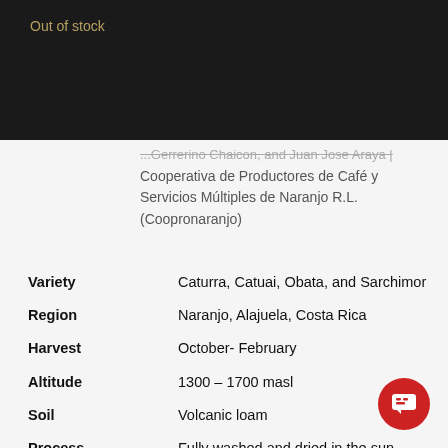Out of stock
...Gerrerino Chaicon, and Juan Jose Araya | Cooperativa de Productores de Café y Servicios Múltiples de Naranjo R.L. (Coopronaranjo)
| Variety | Caturra, Catuai, Obata, and Sarchimor |
| Region | Naranjo, Alajuela, Costa Rica |
| Harvest | October- February |
| Altitude | 1300 – 1700 masl |
| Soil | Volcanic loam |
| Process | Fully washed and dried in the sun |
| Certifications |  |